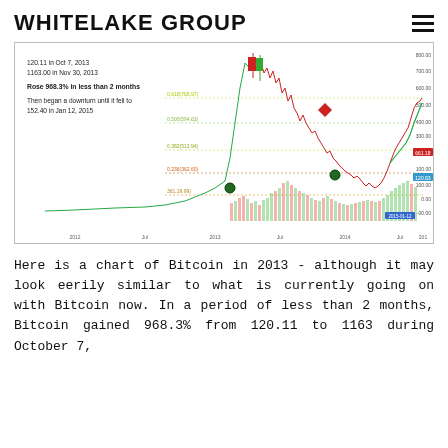WHITELAKE GROUP
[Figure (continuous-plot): Bitcoin price chart from 2012 to 2015 showing candlestick price action with volume bars. Annotations note: 120.11 in Oct 7, 2013 / 1163.00 in Nov 30, 2013 / Rose 968.3% in less than 2 months / Then began a downturn until it fell to 152.40 in Jan 12, 2015. Fibonacci retracement levels shown. Price peaked near 1163 in late 2013 then declined to ~150 by early 2015 before recovering.]
Here is a chart of Bitcoin in 2013 - although it may look eerily similar to what is currently going on with Bitcoin now. In a period of less than 2 months, Bitcoin gained 968.3% from 120.11 to 1163 during October 7,